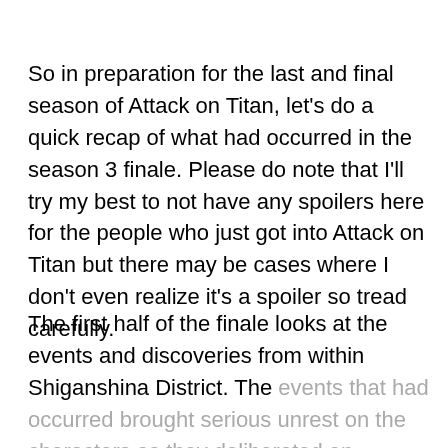So in preparation for the last and final season of Attack on Titan, let's do a quick recap of what had occurred in the season 3 finale. Please do note that I'll try my best to not have any spoilers here for the people who just got into Attack on Titan but there may be cases where I don't even realize it's a spoiler so tread carefully.
The first half of the finale looks at the events and discoveries from within Shiganshina District. The events that had occurred brought serious unrest on the characters as they deliberated on whether the